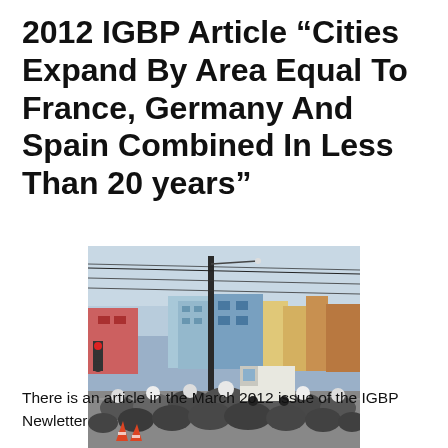2012 IGBP Article “Cities Expand By Area Equal To France, Germany And Spain Combined In Less Than 20 years”
[Figure (photo): A crowded urban street intersection with a large group of motorcyclists and cyclists waiting at a traffic stop. Buildings, utility poles, and overhead wires are visible in the background under a hazy sky.]
There is an article in the March 2012 issue of the IGBP Newletter